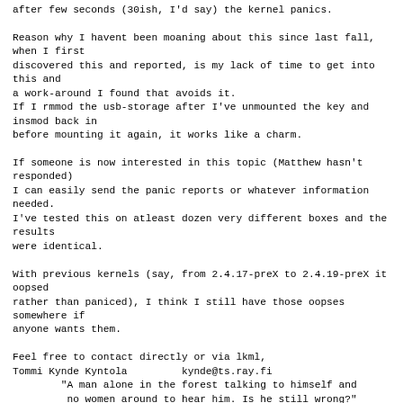after few seconds (30ish, I'd say) the kernel panics.

Reason why I havent been moaning about this since last fall, when I first
discovered this and reported, is my lack of time to get into this and
a work-around I found that avoids it.
If I rmmod the usb-storage after I've unmounted the key and insmod back in
before mounting it again, it works like a charm.

If someone is now interested in this topic (Matthew hasn't responded)
I can easily send the panic reports or whatever information needed.
I've tested this on atleast dozen very different boxes and the results
were identical.

With previous kernels (say, from 2.4.17-preX to 2.4.19-preX it oopsed
rather than paniced), I think I still have those oopses somewhere if
anyone wants them.

Feel free to contact directly or via lkml,
Tommi Kynde Kyntola         kynde@ts.ray.fi
        "A man alone in the forest talking to himself and
         no women around to hear him. Is he still wrong?"